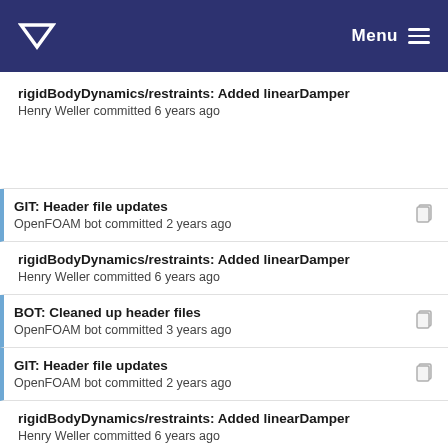Menu
rigidBodyDynamics/restraints: Added linearDamper
Henry Weller committed 6 years ago
GIT: Header file updates
OpenFOAM bot committed 2 years ago
rigidBodyDynamics/restraints: Added linearDamper
Henry Weller committed 6 years ago
BOT: Cleaned up header files
OpenFOAM bot committed 3 years ago
GIT: Header file updates
OpenFOAM bot committed 2 years ago
rigidBodyDynamics/restraints: Added linearDamper
Henry Weller committed 6 years ago